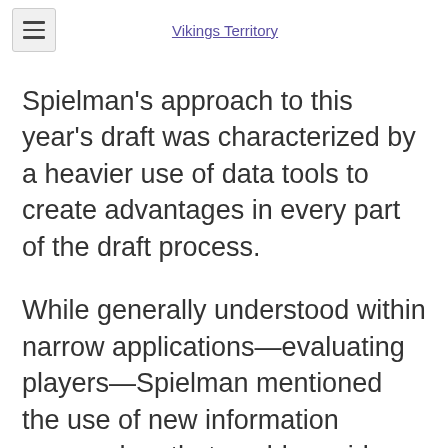Vikings Territory
Spielman's approach to this year's draft was characterized by a heavier use of data tools to create advantages in every part of the draft process.
While generally understood within narrow applications—evaluating players—Spielman mentioned the use of new information approaches that could provide the Vikings with an advantage as the years go by when it comes to drafting.
Though the Vikings do not have anyone in-house working on some of these problems, they have consulted heavily with an outside "guy or girl" to improve their process.